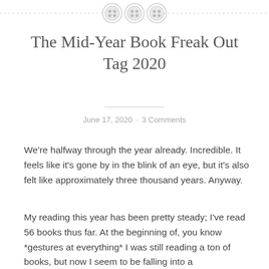[Figure (illustration): Top decorative border with three button icons (circular button shapes) centered horizontally, with a dashed horizontal line extending left and right]
The Mid-Year Book Freak Out Tag 2020
June 17, 2020 · 3 Comments
We're halfway through the year already. Incredible. It feels like it's gone by in the blink of an eye, but it's also felt like approximately three thousand years. Anyway.
My reading this year has been pretty steady; I've read 56 books thus far. At the beginning of, you know *gestures at everything* I was still reading a ton of books, but now I seem to be falling into a